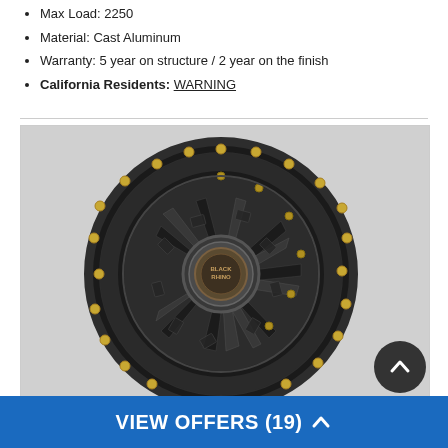Max Load: 2250
Material: Cast Aluminum
Warranty: 5 year on structure / 2 year on the finish
California Residents: WARNING
[Figure (photo): A Black Rhino beadlock-style alloy wheel with a dark gunmetal finish, lattice spoke design, and gold/brass lug bolts around the outer ring. The center cap features the Black Rhino logo.]
VIEW OFFERS (19)